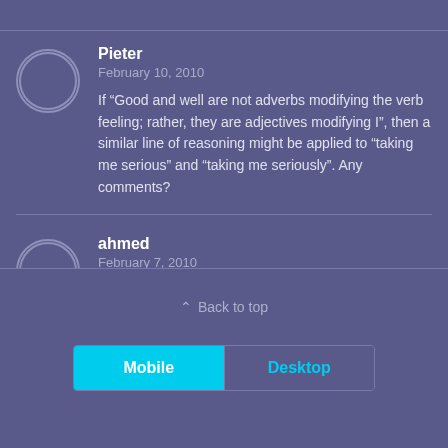Pieter
February 10, 2010
If “Good and well are not adverbs modifying the verb feeling; rather, they are adjectives modifying I”, then a similar line of reasoning might be applied to “taking me serious” and “taking me seriously”. Any comments?
ahmed
February 7, 2010
thank u,i got stunning informations about good and well
∧ Back to top
Mobile
Desktop